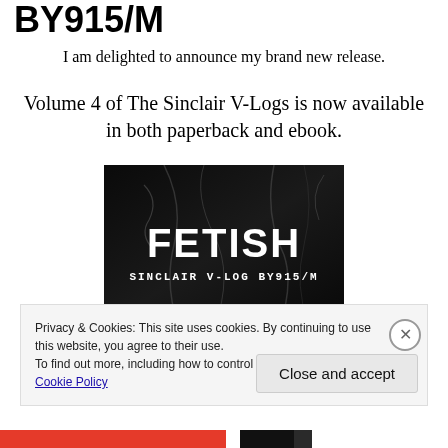BY915/M
I am delighted to announce my brand new release.
Volume 4 of The Sinclair V-Logs is now available in both paperback and ebook.
[Figure (illustration): Book cover image showing 'FETISH - SINCLAIR V-LOG BY915/M' in large white text on a dark background with abstract artistic imagery.]
Privacy & Cookies: This site uses cookies. By continuing to use this website, you agree to their use.
To find out more, including how to control cookies, see here: Cookie Policy